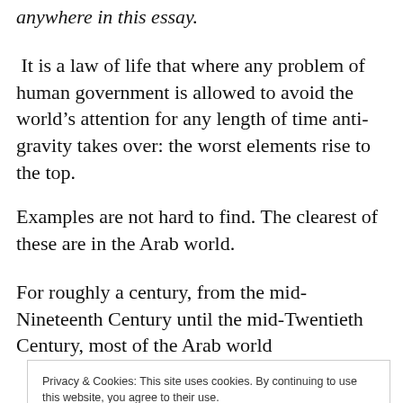anywhere in this essay.
It is a law of life that where any problem of human government is allowed to avoid the world’s attention for any length of time anti-gravity takes over: the worst elements rise to the top.
Examples are not hard to find. The clearest of these are in the Arab world.
For roughly a century, from the mid-Nineteenth Century until the mid-Twentieth Century, most of the Arab world
Privacy & Cookies: This site uses cookies. By continuing to use this website, you agree to their use.
To find out more, including how to control cookies, see here: Cookie Policy
Close and accept